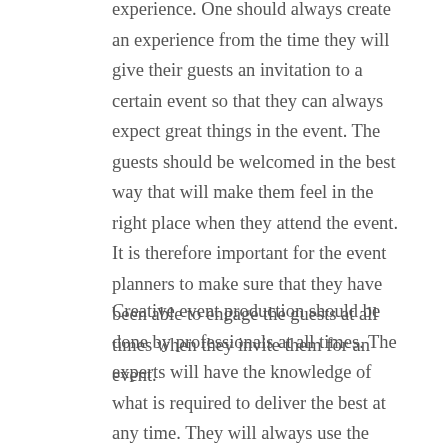experience. One should always create an experience from the time they will give their guests an invitation to a certain event so that they can always expect great things in the event. The guests should be welcomed in the best way that will make them feel in the right place when they attend the event. It is therefore important for the event planners to make sure that they have been able to engage the guests at all times when they invite them for an event.
Creative event production should be done by professionals at all times. The experts will have the knowledge of what is required to deliver the best at any time. They will always use the skills they have to make sure that the event they will be planning will turn out to be the best at all times. The creative event planners should make sure that they do the proper lighting in the